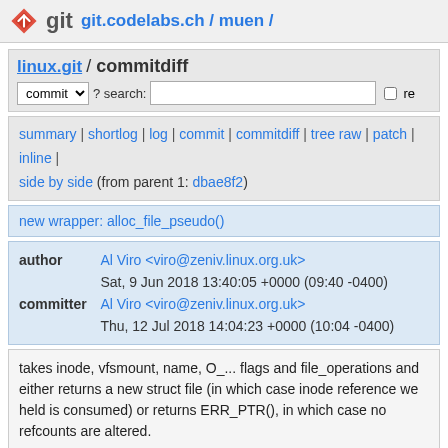git git.codelabs.ch / muen /
linux.git / commitdiff
commit ? search: re
summary | shortlog | log | commit | commitdiff | tree raw | patch | inline | side by side (from parent 1: dbae8f2)
new wrapper: alloc_file_pseudo()
| field | value |
| --- | --- |
| author | Al Viro <viro@zeniv.linux.org.uk> |
|  | Sat, 9 Jun 2018 13:40:05 +0000 (09:40 -0400) |
| committer | Al Viro <viro@zeniv.linux.org.uk> |
|  | Thu, 12 Jul 2018 14:04:23 +0000 (10:04 -0400) |
takes inode, vfsmount, name, O_... flags and file_operations and either returns a new struct file (in which case inode reference we held is consumed) or returns ERR_PTR(), in which case no refcounts are altered.